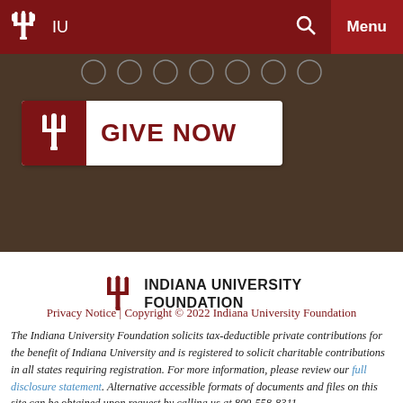[Figure (screenshot): Indiana University top navigation bar with IU trident logo, IU text, search icon, and Menu button on dark red background]
[Figure (screenshot): Dark brown banner area with social media icon circles and a Give Now button featuring IU trident logo]
[Figure (logo): Indiana University Foundation logo with trident and text INDIANA UNIVERSITY FOUNDATION]
Privacy Notice | Copyright © 2022 Indiana University Foundation
The Indiana University Foundation solicits tax-deductible private contributions for the benefit of Indiana University and is registered to solicit charitable contributions in all states requiring registration. For more information, please review our full disclosure statement. Alternative accessible formats of documents and files on this site can be obtained upon request by calling us at 800-558-8311.